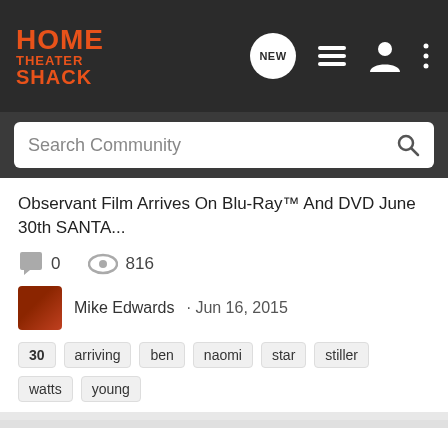HOME THEATER SHACK
Search Community
Observant Film Arrives On Blu-Ray™ And DVD June 30th SANTA...
0   816
Mike Edwards · Jun 16, 2015
30  arriving  ben  naomi  star  stiller  watts  young
Arnold Schwarzenegger Stars In Post-Apocalyptic Thriller Maggie Arriving On Digital HD June 30 and Blu-ray and DVD July 7
Movies | TV Shows | Hollywood
SANTA MONICA, CA (May 11, 2015) - Arnold Schwarzenegger is back and better than ever in the post-